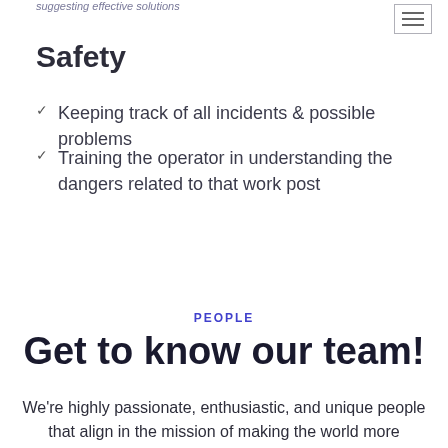suggesting effective solutions
Safety
Keeping track of all incidents & possible problems
Training the operator in understanding the dangers related to that work post
PEOPLE
Get to know our team!
We're highly passionate, enthusiastic, and unique people that align in the mission of making the world more productive